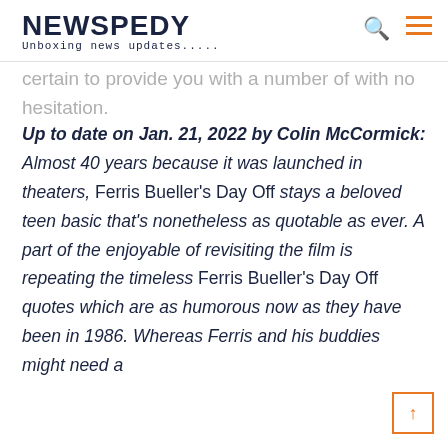NEWSPEDY — Unboxing news updates.....
certain to provide you with a number of with no hesitation.
Up to date on Jan. 21, 2022 by Colin McCormick: Almost 40 years because it was launched in theaters, Ferris Bueller's Day Off stays a beloved teen basic that's nonetheless as quotable as ever. A part of the enjoyable of revisiting the film is repeating the timeless Ferris Bueller's Day Off quotes which are as humorous now as they have been in 1986. Whereas Ferris and his buddies might need a